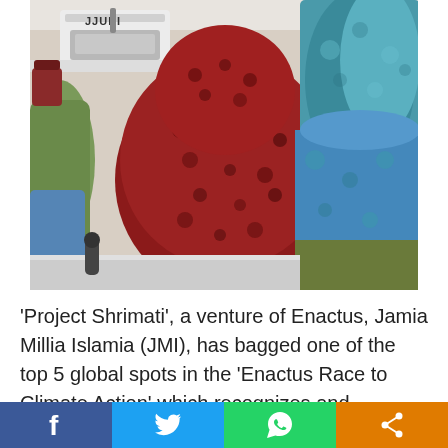[Figure (photo): Women in colorful traditional dress (red/dark patterned dupatta and blue/teal fabric) seated at a JUKI sewing machine in what appears to be a tailoring or garment workshop.]
'Project Shrimati', a venture of Enactus, Jamia Millia Islamia (JMI), has bagged one of the top 5 global spots in the 'Enactus Race to Climate Action' which recognizes and